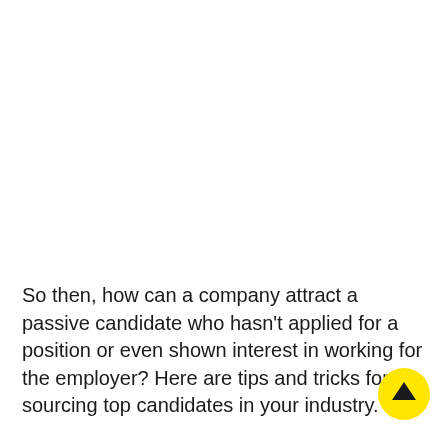So then, how can a company attract a passive candidate who hasn't applied for a position or even shown interest in working for the employer? Here are tips and tricks for sourcing top candidates in your industry.
[Figure (other): Yellow circular button with upward-pointing arrow icon]